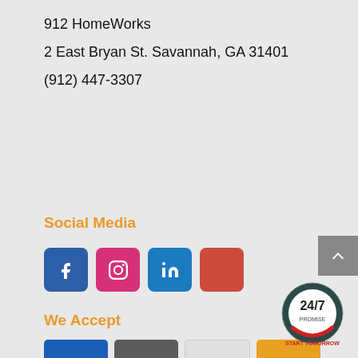912 HomeWorks
2 East Bryan St. Savannah, GA 31401
(912) 447-3307
Social Media
[Figure (other): Social media icons: Facebook (blue), Instagram (pink), LinkedIn (blue), YouTube/other (red-orange)]
We Accept
[Figure (other): Payment method icons: Visa (blue), Mastercard (grey), Discover (light), Amex (gold)]
[Figure (logo): 24/7 Promise - START TOMORROW circular badge logo]